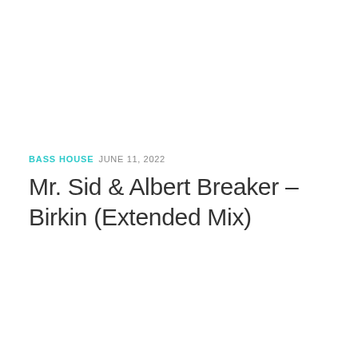BASS HOUSE  JUNE 11, 2022
Mr. Sid & Albert Breaker – Birkin (Extended Mix)